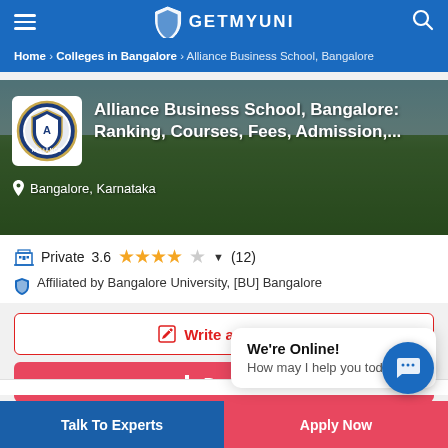GETMYUNI
Home > Colleges in Bangalore > Alliance Business School, Bangalore
[Figure (photo): Alliance Business School, Bangalore campus banner image with college logo and title: Alliance Business School, Bangalore: Ranking, Courses, Fees, Admission,... Located in Bangalore, Karnataka]
Private  3.6  ★★★★☆  (12)
Affiliated by Bangalore University, [BU] Bangalore
Write a Review
Brochure
We're Online!
How may I help you today?
Talk To Experts
Apply Now